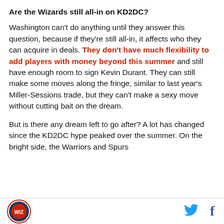Are the Wizards still all-in on KD2DC?
Washington can't do anything until they answer this question, because if they're still all-in, it affects who they can acquire in deals. They don't have much flexibility to add players with money beyond this summer and still have enough room to sign Kevin Durant. They can still make some moves along the fringe, similar to last year's Miller-Sessions trade, but they can't make a sexy move without cutting bait on the dream.
But is there any dream left to go after? A lot has changed since the KD2DC hype peaked over the summer. On the bright side, the Warriors and Spurs
[Figure (logo): Circular team logo with red border]
[Figure (logo): Twitter bird icon in blue]
[Figure (logo): Facebook f icon in dark blue]